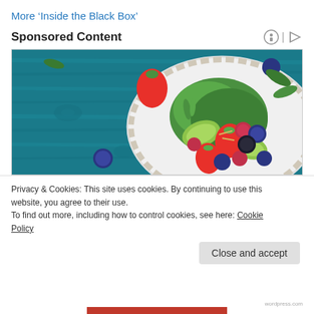More ‘Inside the Black Box’
Sponsored Content
[Figure (photo): A white plate with a colorful salad topped with strawberries, raspberries, blueberries, blackberries, and green leaves/avocado on a blue wooden background]
Privacy & Cookies: This site uses cookies. By continuing to use this website, you agree to their use.
To find out more, including how to control cookies, see here: Cookie Policy
Close and accept